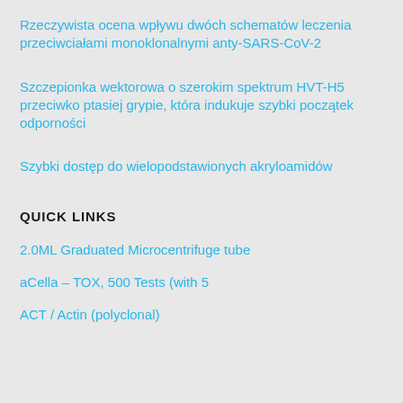Rzeczywista ocena wpływu dwóch schematów leczenia przeciwciałami monoklonalnymi anty-SARS-CoV-2
Szczepionka wektorowa o szerokim spektrum HVT-H5 przeciwko ptasiej grypie, która indukuje szybki początek odporności
Szybki dostęp do wielopodstawionych akryloamidów
QUICK LINKS
2.0ML Graduated Microcentrifuge tube
aCella – TOX, 500 Tests (with 5
ACT / Actin (polyclonal)